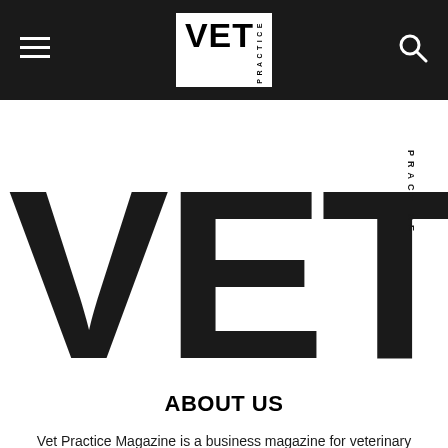Vet Practice Magazine - navigation bar with hamburger menu and search icon
[Figure (logo): Vet Practice Magazine logo - large bold VET text with PRACTICE written vertically]
ABOUT US
Vet Practice Magazine is a business magazine for veterinary professionals PRIVACY POLICY: https://engagemedia.com.au/privacy/
Contact us: info@vetpracticemag.com.au
FOLLOW US